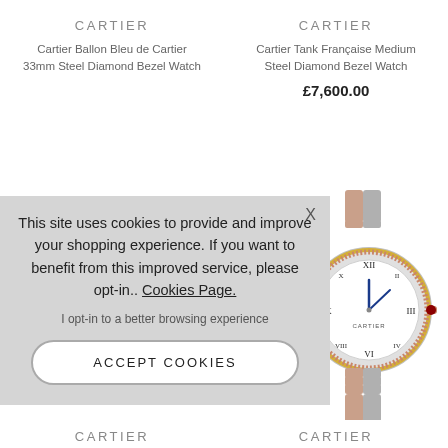CARTIER
Cartier Ballon Bleu de Cartier 33mm Steel Diamond Bezel Watch
CARTIER
Cartier Tank Française Medium Steel Diamond Bezel Watch
£7,600.00
[Figure (photo): Cartier watch with rose gold and steel bracelet, round face with Roman numerals]
This site uses cookies to provide and improve your shopping experience. If you want to benefit from this improved service, please opt-in.. Cookies Page.
I opt-in to a better browsing experience
ACCEPT COOKIES
CARTIER
CARTIER